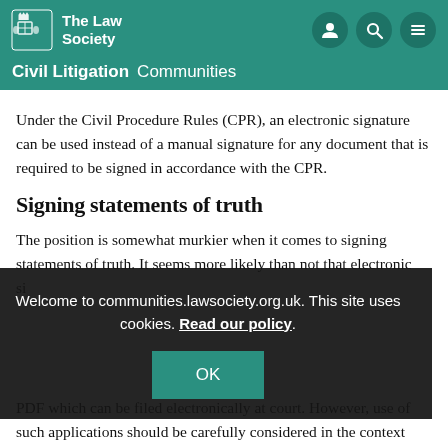The Law Society – Civil Litigation Communities
Under the Civil Procedure Rules (CPR), an electronic signature can be used instead of a manual signature for any document that is required to be signed in accordance with the CPR.
Signing statements of truth
The position is somewhat murkier when it comes to signing statements of truth. It seems more likely than not that electronic signatures ... PDF which can be filed electronically at court. However, use of such applications should be carefully considered in the context
[Figure (screenshot): Cookie consent overlay with text: Welcome to communities.lawsociety.org.uk. This site uses cookies. Read our policy. With an OK button.]